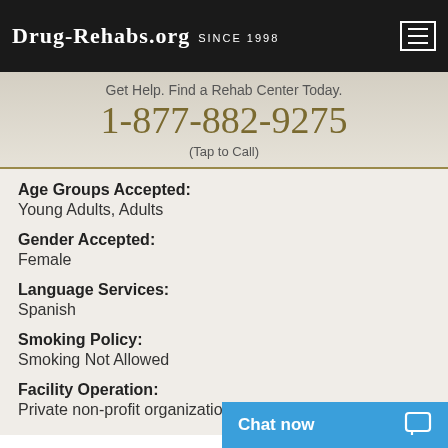Drug-Rehabs.org Since 1998
Get Help. Find a Rehab Center Today.
1-877-882-9275
(Tap to Call)
Age Groups Accepted:
Young Adults, Adults
Gender Accepted:
Female
Language Services:
Spanish
Smoking Policy:
Smoking Not Allowed
Facility Operation:
Private non-profit organization
Chat now